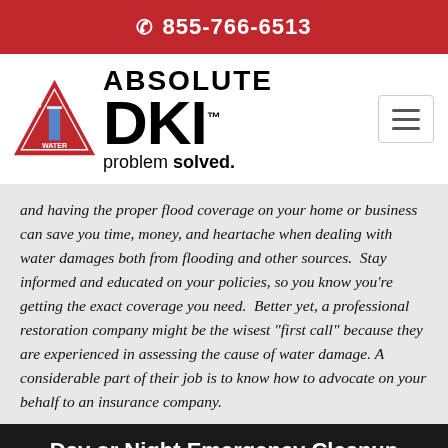855-766-6513
[Figure (logo): Absolute DKI logo with a red triangle containing WIND, FIRE, WATER text and a building graphic, alongside ABSOLUTE DKI in bold black text and tagline 'problem solved.']
and having the proper flood coverage on your home or business can save you time, money, and heartache when dealing with water damages both from flooding and other sources. Stay informed and educated on your policies, so you know you're getting the exact coverage you need. Better yet, a professional restoration company might be the wisest "first call" because they are experienced in assessing the cause of water damage. A considerable part of their job is to know how to advocate on your behalf to an insurance company.
Day or Night Emergency Cleanup